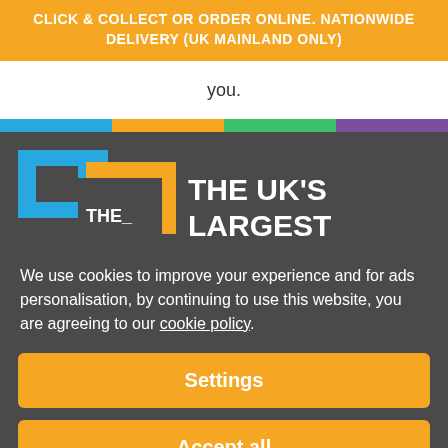CLICK & COLLECT OR ORDER ONLINE. NATIONWIDE DELIVERY (UK MAINLAND ONLY)
you.
[Figure (illustration): Colored horizontal stripe bar with blue, orange, green, and purple sections]
[Figure (logo): Logo with blue and orange overlapping rectangles and 'THE' text, alongside 'THE UK'S LARGEST' bold white text on dark background]
We use cookies to improve your experience and for ads personalisation, by continuing to use this website, you are agreeing to our cookie policy.
Settings
Accept all